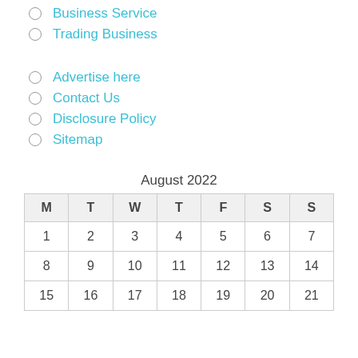Business Service
Trading Business
Advertise here
Contact Us
Disclosure Policy
Sitemap
| M | T | W | T | F | S | S |
| --- | --- | --- | --- | --- | --- | --- |
| 1 | 2 | 3 | 4 | 5 | 6 | 7 |
| 8 | 9 | 10 | 11 | 12 | 13 | 14 |
| 15 | 16 | 17 | 18 | 19 | 20 | 21 |